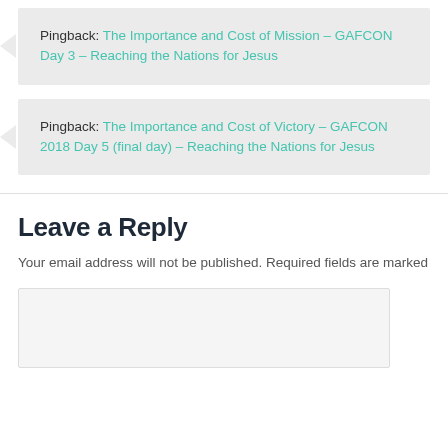Pingback: The Importance and Cost of Mission – GAFCON Day 3 – Reaching the Nations for Jesus
Pingback: The Importance and Cost of Victory – GAFCON 2018 Day 5 (final day) – Reaching the Nations for Jesus
Leave a Reply
Your email address will not be published. Required fields are marked